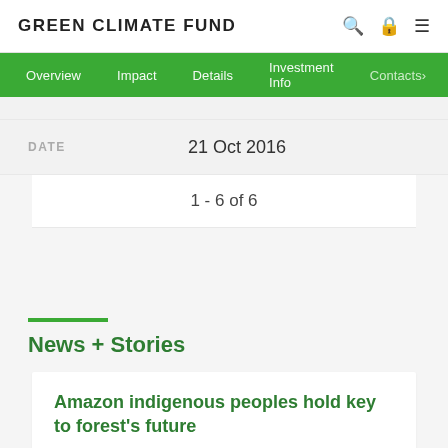GREEN CLIMATE FUND
Overview  Impact  Details  Investment Info  Contacts
| DATE |  |
| --- | --- |
| DATE | 21 Oct 2016 |
1 - 6 of 6
News + Stories
Amazon indigenous peoples hold key to forest's future
26 Aug 2021 / The indigenous peoples of the...